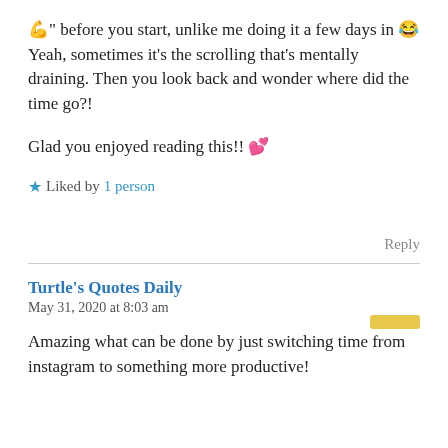💪" before you start, unlike me doing it a few days in 😂 Yeah, sometimes it's the scrolling that's mentally draining. Then you look back and wonder where did the time go?!
Glad you enjoyed reading this!! 💕
★ Liked by 1 person
Reply
Turtle's Quotes Daily
May 31, 2020 at 8:03 am
Amazing what can be done by just switching time from instagram to something more productive!